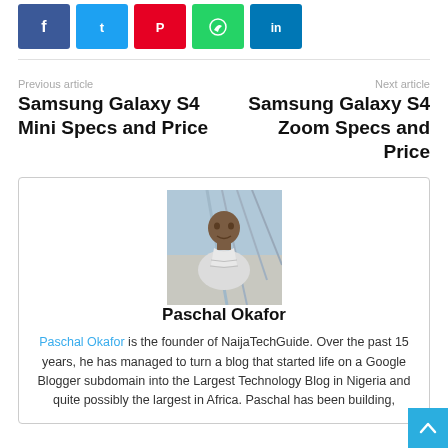[Figure (infographic): Social media share buttons: Facebook (blue), Twitter (light blue), Pinterest (red), WhatsApp (green), LinkedIn (dark blue)]
Previous article
Next article
Samsung Galaxy S4 Mini Specs and Price
Samsung Galaxy S4 Zoom Specs and Price
[Figure (photo): Portrait photo of Paschal Okafor, a man in a white shirt photographed outdoors]
Paschal Okafor
Paschal Okafor is the founder of NaijaTechGuide. Over the past 15 years, he has managed to turn a blog that started life on a Google Blogger subdomain into the Largest Technology Blog in Nigeria and quite possibly the largest in Africa. Paschal has been building,